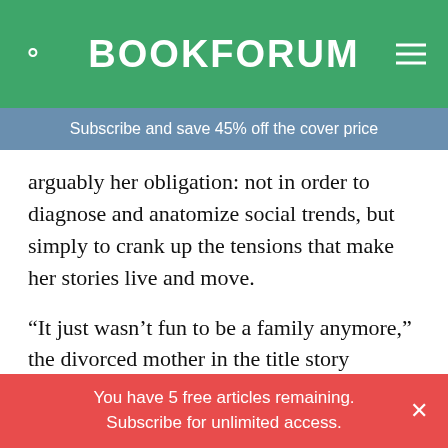BOOKFORUM
Subscribe and save 45% off the cover price
arguably her obligation: not in order to diagnose and anatomize social trends, but simply to crank up the tensions that make her stories live and move.
“It just wasn’t fun to be a family anymore,” the divorced mother in the title story realizes. So does the divorced father of her son’s fat, druggy, suicidal, pregnant girlfriend: “I have to check out Niffer every night to see if she’s cutting again. Up her arms, on her belly. It’s just vigilance, my friend, round-the-clock vigilance… My ex doesn’t know the half of
You have 5 free articles remaining. Subscribe for unlimited access.